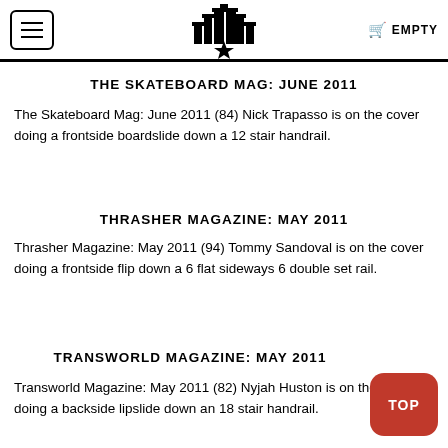THE SKATEBOARD MAG: JUNE 2011 | EMPTY
THE SKATEBOARD MAG: JUNE 2011
The Skateboard Mag: June 2011 (84) Nick Trapasso is on the cover doing a frontside boardslide down a 12 stair handrail.
THRASHER MAGAZINE: MAY 2011
Thrasher Magazine: May 2011 (94) Tommy Sandoval is on the cover doing a frontside flip down a 6 flat sideways 6 double set rail.
TRANSWORLD MAGAZINE: MAY 2011
Transworld Magazine: May 2011 (82) Nyjah Huston is on the cover doing a backside lipslide down an 18 stair handrail.